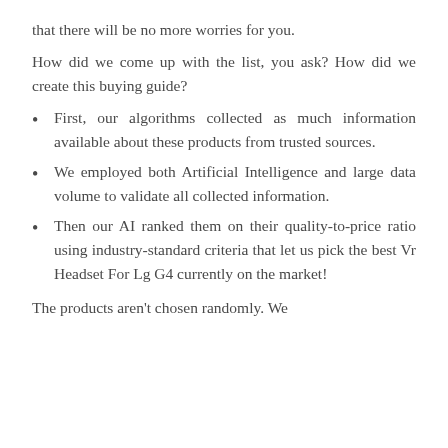that there will be no more worries for you.
How did we come up with the list, you ask? How did we create this buying guide?
First, our algorithms collected as much information available about these products from trusted sources.
We employed both Artificial Intelligence and large data volume to validate all collected information.
Then our AI ranked them on their quality-to-price ratio using industry-standard criteria that let us pick the best Vr Headset For Lg G4 currently on the market!
The products aren't chosen randomly. We